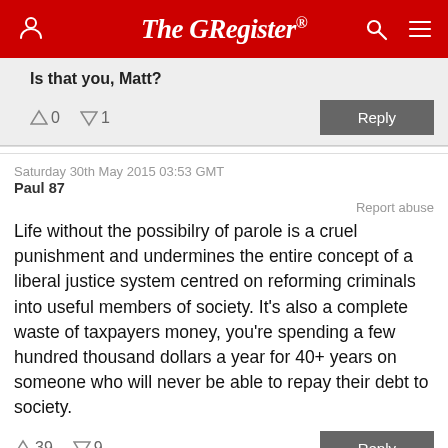The Register
Is that you, Matt?
↑0  ↓1   Reply
Saturday 30th May 2015 03:53 GMT
Paul 87
Report abuse
Life without the possibilry of parole is a cruel punishment and undermines the entire concept of a liberal justice system centred on reforming criminals into useful members of society. It's also a complete waste of taxpayers money, you're spending a few hundred thousand dollars a year for 40+ years on someone who will never be able to repay their debt to society.
↑39  ↓9   Reply
Saturday 30th May 2015 04:13 GMT
Anonymous Coward